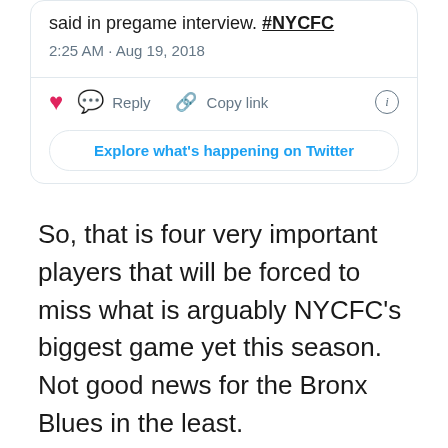[Figure (screenshot): Partial Twitter/X embed card showing tweet timestamp '2:25 AM · Aug 19, 2018', action buttons (heart, reply, copy link), info icon, and 'Explore what's happening on Twitter' button]
So, that is four very important players that will be forced to miss what is arguably NYCFC's biggest game yet this season. Not good news for the Bronx Blues in the least.